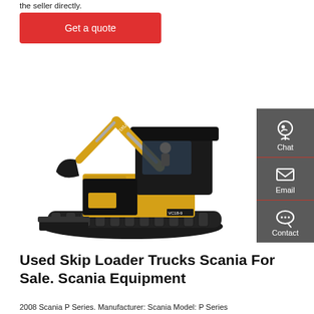the seller directly.
Get a quote
[Figure (photo): Mini excavator / compact tracked excavator with yellow arm and black cab, model VC18-9, shown on white background]
Chat
Email
Contact
Used Skip Loader Trucks Scania For Sale. Scania Equipment
2008 Scania P Series. Manufacturer: Scania Model: P Series